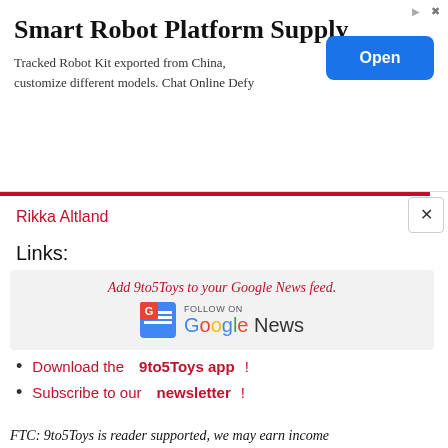[Figure (other): Advertisement banner for Smart Robot Platform Supply with blue Open button]
Rikka Altland
Links:
Subscribe to our YouTube channel!
Follow us on Twitter!
Like our Facebook page!
Download the 9to5Toys app!
Subscribe to our newsletter!
[Figure (other): Add 9to5Toys to your Google News feed. Follow on Google News logo]
FTC: 9to5Toys is reader supported, we may earn income